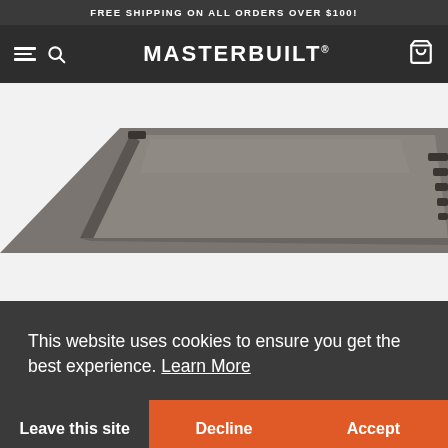FREE SHIPPING ON ALL ORDERS OVER $100!
MASTERBUILT
[Figure (photo): Close-up product photo of a dark gray/charcoal flat griddle or grill tray with perforated holes along the right edge, angled view against a white background.]
This website uses cookies to ensure you get the best experience. Learn More
Leave this site
Decline
Accept